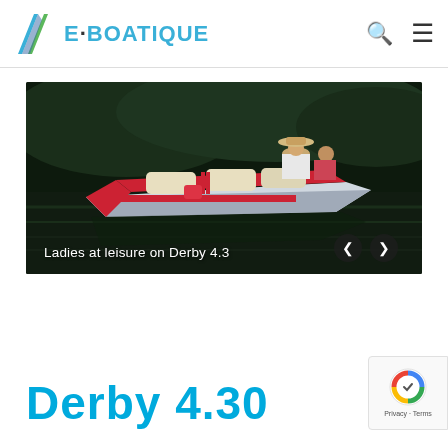E·BOATIQUE
[Figure (photo): A red and white electric leisure boat (Derby 4.3) on dark water with two women on board, one wearing a white outfit and straw hat. The boat has cream-colored upholstered seats. Navigation arrows are visible in the lower right corner of the image.]
Ladies at leisure on Derby 4.3
Derby 4.30